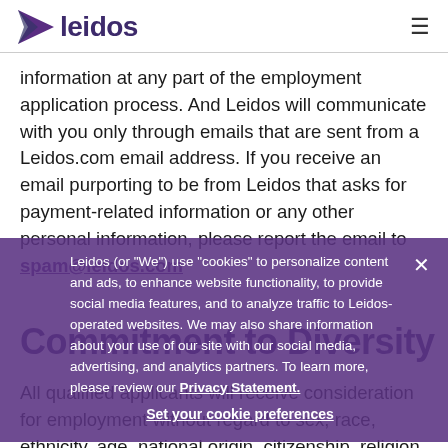leidos
information at any part of the employment application process. And Leidos will communicate with you only through emails that are sent from a Leidos.com email address. If you receive an email purporting to be from Leidos that asks for payment-related information or any other personal information, please report the email to spam@leidos.com
Leidos (or "We") use "cookies" to personalize content and ads, to enhance website functionality, to provide social media features, and to analyze traffic to Leidos-operated websites. We may also share information about your use of our site with our social media, advertising, and analytics partners. To learn more, please review our Privacy Statement.
Set your cookie preferences
Commitment to Diversity
All qualified applicants will receive consideration for employment without regard to sex, race, ethnicity, age, national origin, citizenship, religion, physical or mental disability, medical condition, genetic information,